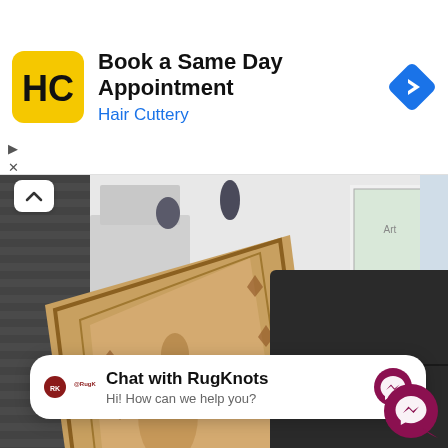[Figure (screenshot): Hair Cuttery advertisement banner with logo, title 'Book a Same Day Appointment', subtitle 'Hair Cuttery', and a blue diamond navigation arrow icon]
[Figure (photo): Photo of an ornate gold/beige runner rug on dark wood floor next to a black leather bench, with framed art on white wall in background]
[Figure (screenshot): Chat widget popup: RugKnots logo, bold text 'Chat with RugKnots', subtext 'Hi! How can we help you?', purple Messenger icon]
[Figure (screenshot): Floating purple Messenger chat button in bottom right corner]